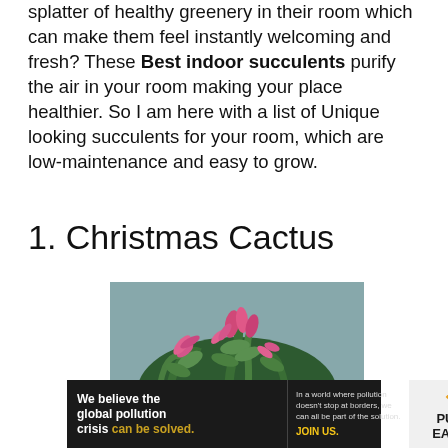splatter of healthy greenery in their room which can make them feel instantly welcoming and fresh? These Best indoor succulents purify the air in your room making your place healthier. So I am here with a list of Unique looking succulents for your room, which are low-maintenance and easy to grow.
1. Christmas Cactus
[Figure (photo): A Christmas Cactus plant with bright pink/magenta flowers and green succulent stems against a gray background]
[Figure (infographic): Advertisement banner for Pure Earth organization with text 'We believe the global pollution crisis can be solved.' and 'In a world where pollution doesn't stop at borders, we can all be part of the solution. JOIN US.' with Pure Earth logo]